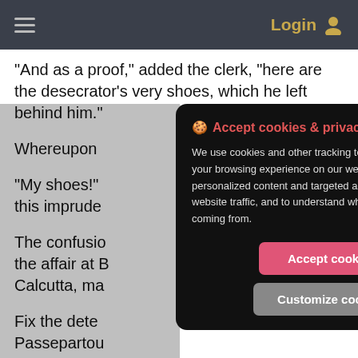≡   Login 👤
"And as a proof," added the clerk, "here are the desecrator's very shoes, which he left behind him."
Whereupon
"My shoes!" this imprude
The confusio the affair at B Calcutta, ma
Fix the dete Passepartou departure fo
Malabar Hill. Knowing that the English authorities dealt very
[Figure (screenshot): Cookie consent modal dialog with dark background. Title in red: '🍪 Accept cookies & privacy policy?'. Body text explaining cookie usage. Two buttons: 'Accept cookies' (pink/red) and 'Customize cookies' (gray).]